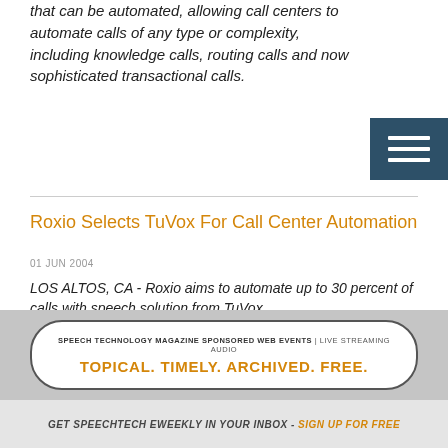that can be automated, allowing call centers to automate calls of any type or complexity, including knowledge calls, routing calls and now sophisticated transactional calls.
[Figure (other): Hamburger menu icon with three white horizontal bars on dark teal/navy background]
Roxio Selects TuVox For Call Center Automation
01 JUN 2004
LOS ALTOS, CA - Roxio aims to automate up to 30 percent of calls with speech solution from TuVox.
CyraCom Partners with Envox and Nuance for Enhanced Language Services to the Healthcare Market
[Figure (infographic): Advertisement banner: Speech Technology Magazine Sponsored Web Events | Live Streaming Audio. TOPICAL. TIMELY. ARCHIVED. FREE.]
GET SPEECHTECH EWEEKLY IN YOUR INBOX - SIGN UP FOR FREE